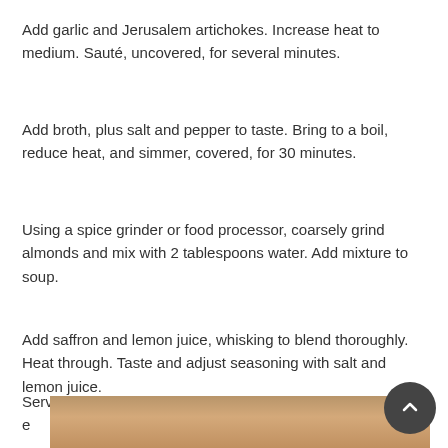Add garlic and Jerusalem artichokes. Increase heat to medium. Sauté, uncovered, for several minutes.
Add broth, plus salt and pepper to taste. Bring to a boil, reduce heat, and simmer, covered, for 30 minutes.
Using a spice grinder or food processor, coarsely grind almonds and mix with 2 tablespoons water. Add mixture to soup.
Add saffron and lemon juice, whisking to blend thoroughly. Heat through. Taste and adjust seasoning with salt and lemon juice.
Serve piping hot, garnished with fresh parsley, and e
[Figure (photo): Partial view of a food photo at the bottom of the page]